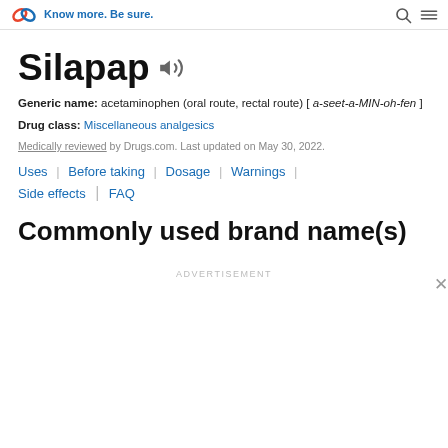Drugs.com — Know more. Be sure.
Silapap
Generic name: acetaminophen (oral route, rectal route) [ a-seet-a-MIN-oh-fen ]
Drug class: Miscellaneous analgesics
Medically reviewed by Drugs.com. Last updated on May 30, 2022.
Uses
Before taking
Dosage
Warnings
Side effects
FAQ
Commonly used brand name(s)
ADVERTISEMENT